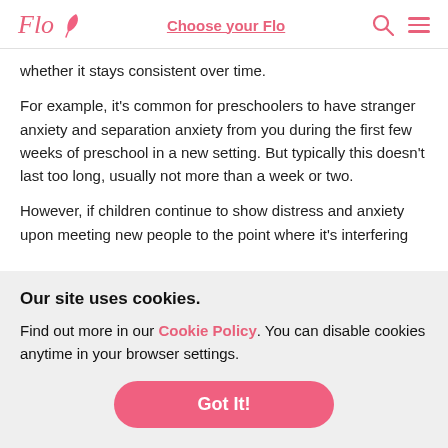Flo | Choose your Flo
whether it stays consistent over time.
For example, it's common for preschoolers to have stranger anxiety and separation anxiety from you during the first few weeks of preschool in a new setting. But typically this doesn't last too long, usually not more than a week or two.
However, if children continue to show distress and anxiety upon meeting new people to the point where it's interfering
Our site uses cookies.
Find out more in our Cookie Policy. You can disable cookies anytime in your browser settings.
Got It!